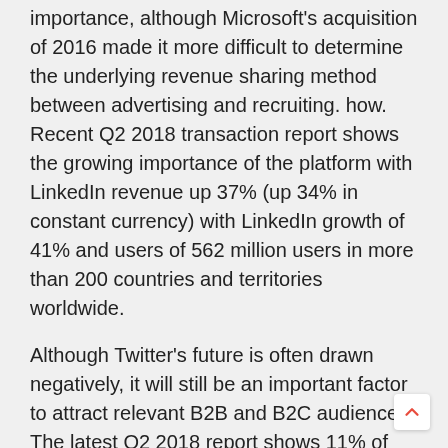importance, although Microsoft's acquisition of 2016 made it more difficult to determine the underlying revenue sharing method between advertising and recruiting. how. Recent Q2 2018 transaction report shows the growing importance of the platform with LinkedIn revenue up 37% (up 34% in constant currency) with LinkedIn growth of 41% and users of 562 million users in more than 200 countries and territories worldwide.
Although Twitter's future is often drawn negatively, it will still be an important factor to attract relevant B2B and B2C audiences. The latest Q2 2018 report shows 11% of daily user growth and 24% YoY revenue growth.
5. Email marketing and auto marketing
In all the channels we mentioned in this article, finding new innovation in email marketing is the biggest challenge